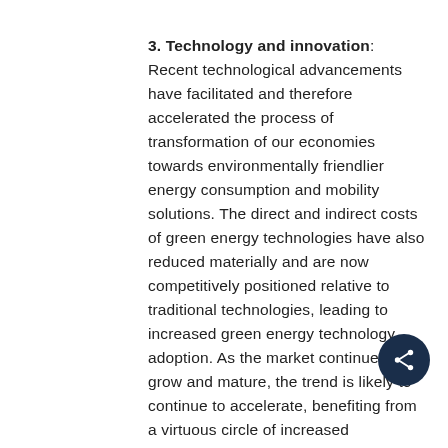3. Technology and innovation: Recent technological advancements have facilitated and therefore accelerated the process of transformation of our economies towards environmentally friendlier energy consumption and mobility solutions. The direct and indirect costs of green energy technologies have also reduced materially and are now competitively positioned relative to traditional technologies, leading to increased green energy technology adoption. As the market continues to grow and mature, the trend is likely to continue to accelerate, benefiting from a virtuous circle of increased investment driving further cost reductions and therefore increased adoption.